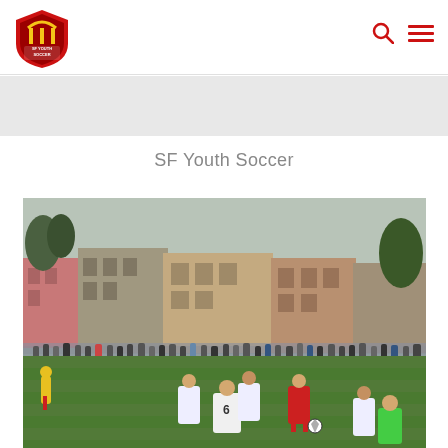SF Youth Soccer — site header with logo and navigation icons
SF Youth Soccer
[Figure (photo): Youth soccer game on a grass field with children in white and red uniforms playing, spectators lining the sideline, and San Francisco residential buildings and trees visible in the background under an overcast sky.]